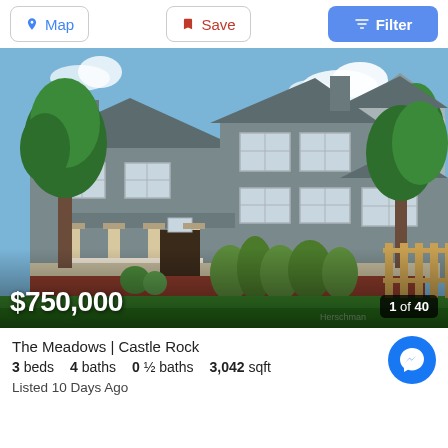[Figure (screenshot): Top navigation bar with Map, Save, and Filter buttons on a white background]
[Figure (photo): Exterior photo of a large two-story craftsman-style home with gray siding, covered front porch with stone columns, manicured green lawn, and trees. Price overlay shows $750,000 and photo count badge shows 1 of 40.]
The Meadows | Castle Rock
3 beds  4 baths  0 ½ baths  3,042 sqft
Listed 10 Days Ago